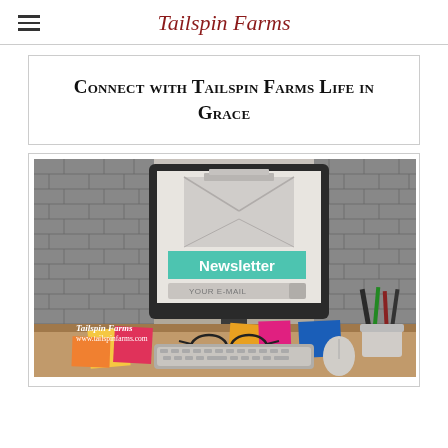Tailspin Farms
Connect with Tailspin Farms Life in Grace
[Figure (photo): A desktop computer monitor displaying a newsletter signup page with the text 'Newsletter' on a teal banner and 'YOUR E-MAIL' input field, set on a wooden desk with sticky notes, glasses, pencils, and a keyboard. The monitor screen shows an envelope graphic. Text overlay reads 'Tailspin Farms www.tailspinfarms.com'.]